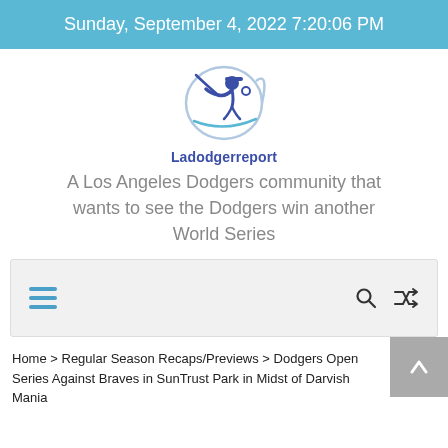Sunday, September 4, 2022 7:20:06 PM
[Figure (logo): Ladodgerreport logo: circular emblem with a Dodgers player silhouette, blue and white]
Ladodgerreport
A Los Angeles Dodgers community that wants to see the Dodgers win another World Series
[Figure (screenshot): Navigation bar with hamburger menu icon on the left, search icon and shuffle/random icon on the right, on a light gray background]
Home > Regular Season Recaps/Previews > Dodgers Open Series Against Braves in SunTrust Park in Midst of Darvish Mania